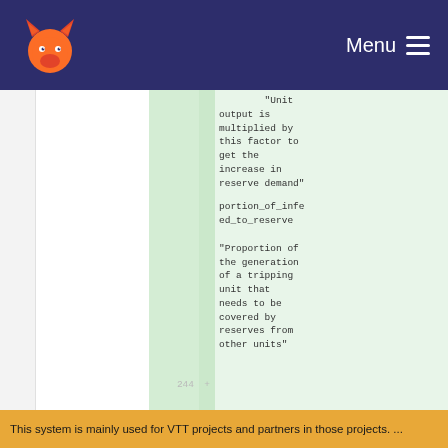Menu
"Unit output is multiplied by this factor to get the increase in reserve demand"
portion_of_infeed_to_reserve
"Proportion of the generation of a tripping unit that needs to be covered by reserves from other units"
This system is mainly used for VTT projects and partners in those projects. ...